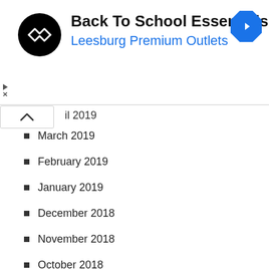[Figure (logo): Advertisement banner: Back To School Essentials at Leesburg Premium Outlets with a black circular logo and blue diamond navigation icon]
il 2019
March 2019
February 2019
January 2019
December 2018
November 2018
October 2018
September 2018
August 2018
July 2018
June 2018
May 2018
April 2018
March 2018